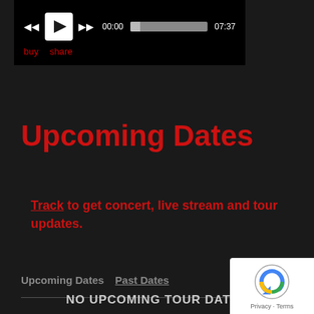[Figure (screenshot): Music player bar with play/pause controls, progress bar showing 00:00 to 07:37, buy and share links]
Upcoming Dates
Track to get concert, live stream and tour updates.
Upcoming Dates   Past Dates
NO UPCOMING TOUR DATES
[Figure (logo): Google reCAPTCHA badge with Privacy and Terms links]